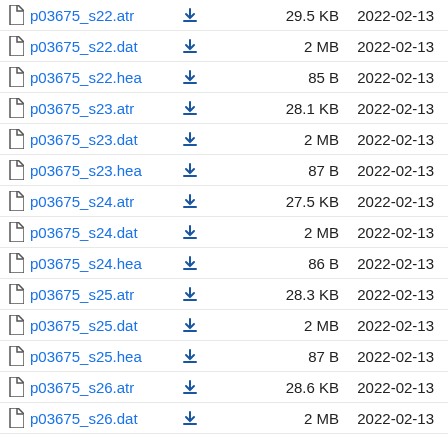|  | Name |  | Size | Date |
| --- | --- | --- | --- | --- |
|  | p03675_s22.atr |  | 29.5 KB | 2022-02-13 |
|  | p03675_s22.dat |  | 2 MB | 2022-02-13 |
|  | p03675_s22.hea |  | 85 B | 2022-02-13 |
|  | p03675_s23.atr |  | 28.1 KB | 2022-02-13 |
|  | p03675_s23.dat |  | 2 MB | 2022-02-13 |
|  | p03675_s23.hea |  | 87 B | 2022-02-13 |
|  | p03675_s24.atr |  | 27.5 KB | 2022-02-13 |
|  | p03675_s24.dat |  | 2 MB | 2022-02-13 |
|  | p03675_s24.hea |  | 86 B | 2022-02-13 |
|  | p03675_s25.atr |  | 28.3 KB | 2022-02-13 |
|  | p03675_s25.dat |  | 2 MB | 2022-02-13 |
|  | p03675_s25.hea |  | 87 B | 2022-02-13 |
|  | p03675_s26.atr |  | 28.6 KB | 2022-02-13 |
|  | p03675_s26.dat |  | 2 MB | 2022-02-13 |